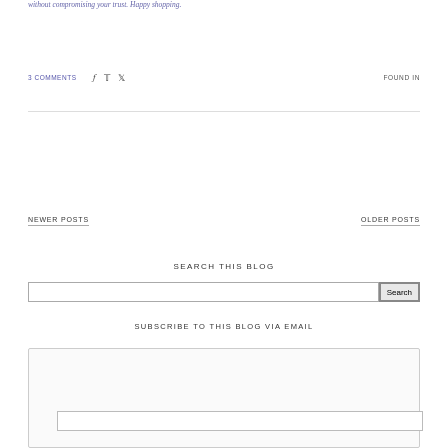without compromising your trust. Happy shopping.
3 COMMENTS
FOUND IN
NEWER POSTS
OLDER POSTS
SEARCH THIS BLOG
SUBSCRIBE TO THIS BLOG VIA EMAIL